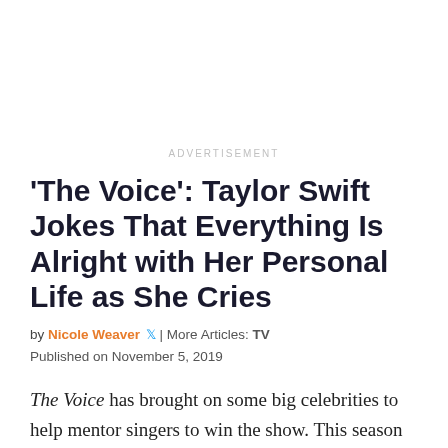ADVERTISEMENT
'The Voice': Taylor Swift Jokes That Everything Is Alright with Her Personal Life as She Cries
by Nicole Weaver 🐦 | More Articles: TV
Published on November 5, 2019
The Voice has brought on some big celebrities to help mentor singers to win the show. This season one of the biggest stars is Taylor Swift.
Some of the contestants have understandably